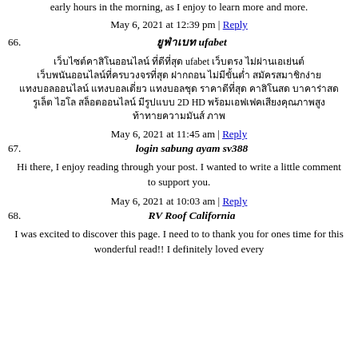early hours in the morning, as I enjoy to learn more and more.
May 6, 2021 at 12:39 pm | Reply
66. ยูฟ่าเบท ufabet
เว็บไซต์คาสิโนออนไลน์ ที่ดีที่สุด ufabet เว็บตรง ไม่ผ่านเอเย่นต์ เว็บพนันออนไลน์ที่ครบวงจรที่สุด ฝากถอน ไม่มีขั้นต่ำ สมัครสมาชิกง่าย แทงบอลออนไลน์ แทงบอลเดี่ยว แทงบอลชุด ราคาดีที่สุด คาสิโนสด บาคาร่าสด รูเล็ต ไฮโล สล็อตออนไลน์ มีรูปแบบ 2D HD พร้อมเอฟเฟคเสียงคุณภาพสูง ท้าทายความมันส์ ภาพ
May 6, 2021 at 11:45 am | Reply
67. login sabung ayam sv388
Hi there, I enjoy reading through your post. I wanted to write a little comment to support you.
May 6, 2021 at 10:03 am | Reply
68. RV Roof California
I was excited to discover this page. I need to to thank you for ones time for this wonderful read!! I definitely loved every